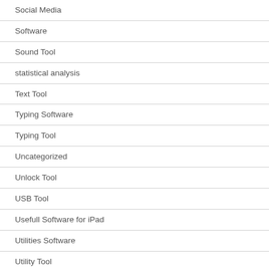Social Media
Software
Sound Tool
statistical analysis
Text Tool
Typing Software
Typing Tool
Uncategorized
Unlock Tool
USB Tool
Usefull Software for iPad
Utilities Software
Utility Tool
Video Downloader